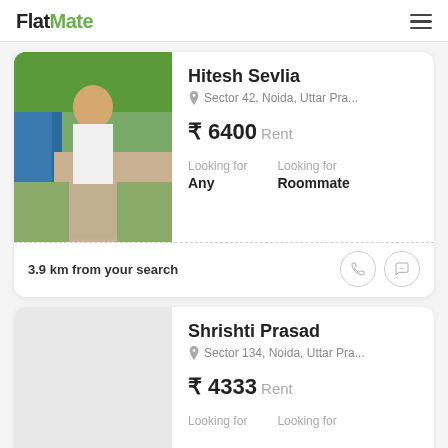FlatMate
Hitesh Sevlia
Sector 42, Noida, Uttar Pra...
₹ 6400 Rent
Looking for Any  Looking for Roommate
3.9 km from your search
Shrishti Prasad
Sector 134, Noida, Uttar Pra...
₹ 4333 Rent
Looking for  Looking for